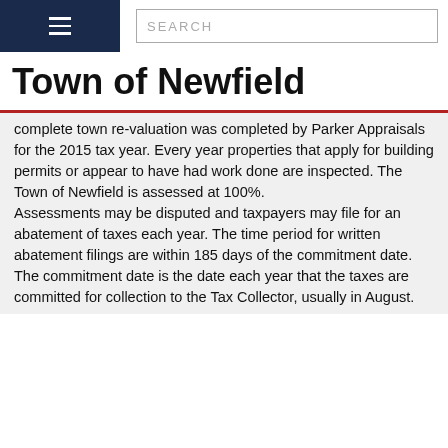Town of Newfield — navigation header with hamburger menu and search box
Town of Newfield
complete town re-valuation was completed by Parker Appraisals for the 2015 tax year. Every year properties that apply for building permits or appear to have had work done are inspected. The Town of Newfield is assessed at 100%.
Assessments may be disputed and taxpayers may file for an abatement of taxes each year. The time period for written abatement filings are within 185 days of the commitment date. The commitment date is the date each year that the taxes are committed for collection to the Tax Collector, usually in August.